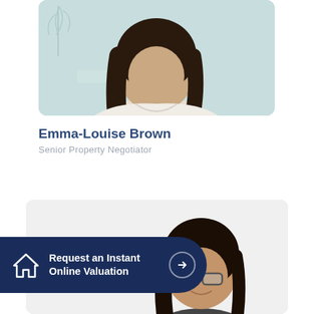[Figure (photo): Headshot of Emma-Louise Brown, a woman with long dark hair wearing a white top, photographed against a light teal/mint background with a decorative plant motif.]
Emma-Louise Brown
Senior Property Negotiator
[Figure (photo): Partial headshot of a woman with long dark hair and glasses, photographed against a light grey/white background.]
Request an Instant Online Valuation